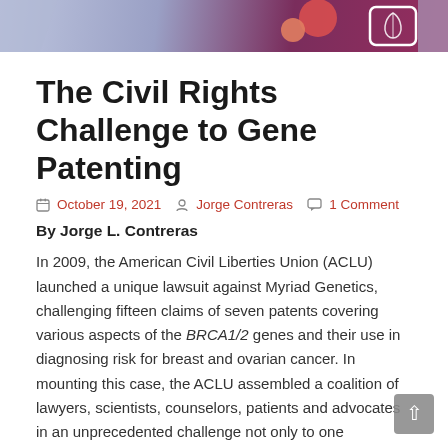[Figure (illustration): Decorative banner header with purple/mauve gradient background, red/orange circles, and a lung icon in a white-bordered box, with geometric chevron shapes on sides.]
The Civil Rights Challenge to Gene Patenting
October 19, 2021  Jorge Contreras  1 Comment
By Jorge L. Contreras
In 2009, the American Civil Liberties Union (ACLU) launched a unique lawsuit against Myriad Genetics, challenging fifteen claims of seven patents covering various aspects of the BRCA1/2 genes and their use in diagnosing risk for breast and ovarian cancer. In mounting this case, the ACLU assembled a coalition of lawyers, scientists, counselors, patients and advocates in an unprecedented challenge not only to one company's patents, but the entire practice of gene